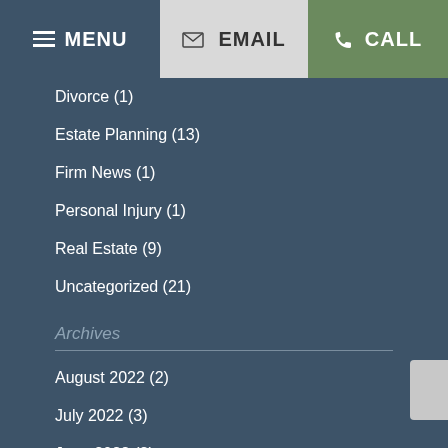MENU | EMAIL | CALL
Divorce (1)
Estate Planning (13)
Firm News (1)
Personal Injury (1)
Real Estate (9)
Uncategorized (21)
Archives
August 2022 (2)
July 2022 (3)
June 2022 (2)
May 2022 (3)
April 2022 (2)
March 2022 (4)
February 2022 (2)